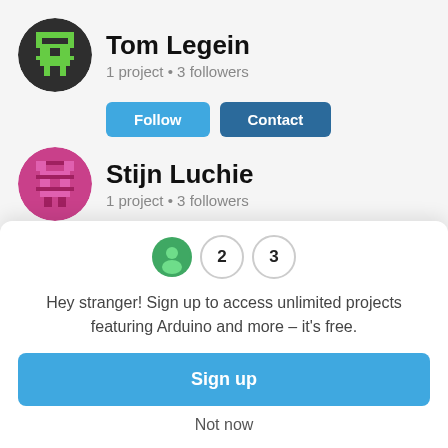Tom Legein
1 project • 3 followers
Stijn Luchie
1 project • 3 followers
[Figure (infographic): Pagination with 3 bubbles: page 1 active (green circle with user avatar icon), pages 2 and 3 as outlined circles]
Hey stranger! Sign up to access unlimited projects featuring Arduino and more – it's free.
Sign up
Not now